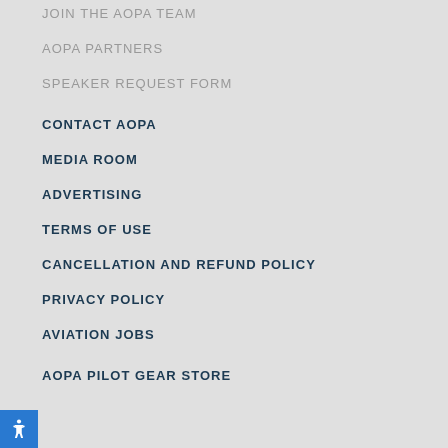JOIN THE AOPA TEAM
AOPA PARTNERS
SPEAKER REQUEST FORM
CONTACT AOPA
MEDIA ROOM
ADVERTISING
TERMS OF USE
CANCELLATION AND REFUND POLICY
PRIVACY POLICY
AVIATION JOBS
AOPA PILOT GEAR STORE